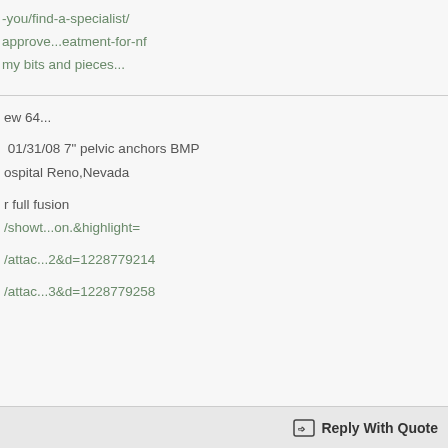-you/find-a-specialist/
approve...eatment-for-nf
my bits and pieces...
ew 64...
01/31/08 7" pelvic anchors BMP
ospital Reno,Nevada
r full fusion
/showt...on.&highlight=
/attac...2&d=1228779214
/attac...3&d=1228779258
Reply With Quote